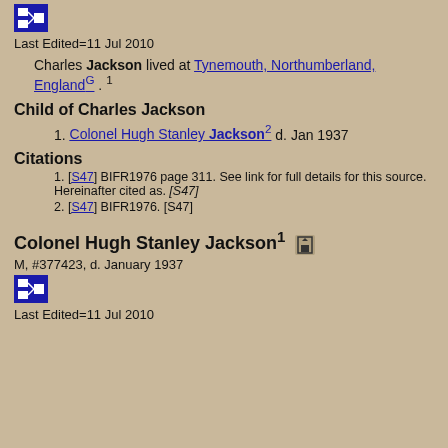[Figure (other): Blue icon button with grid/hierarchy symbol at top of page]
Last Edited=11 Jul 2010
Charles Jackson lived at Tynemouth, Northumberland, EnglandG . 1
Child of Charles Jackson
1. Colonel Hugh Stanley Jackson2 d. Jan 1937
Citations
1. [S47] BIFR1976 page 311. See link for full details for this source. Hereinafter cited as. [S47]
2. [S47] BIFR1976. [S47]
Colonel Hugh Stanley Jackson1
M, #377423, d. January 1937
[Figure (other): Blue icon button with grid/hierarchy symbol]
Last Edited=11 Jul 2010